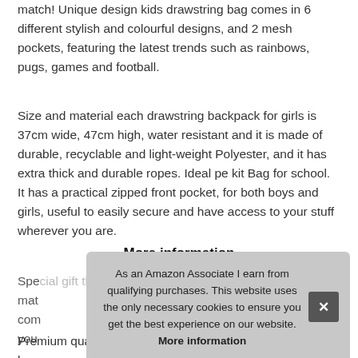match! Unique design kids drawstring bag comes in 6 different stylish and colourful designs, and 2 mesh pockets, featuring the latest trends such as rainbows, pugs, games and football.
Size and material each drawstring backpack for girls is 37cm wide, 47cm high, water resistant and it is made of durable, recyclable and light-weight Polyester, and it has extra thick and durable ropes. Ideal pe kit Bag for school. It has a practical zipped front pocket, for both boys and girls, useful to easily secure and have access to your stuff wherever you are.
More information
Special gift this swimming bags for girls and boys can be mat... com... you...
As an Amazon Associate I earn from qualifying purchases. This website uses the only necessary cookies to ensure you get the best experience on our website. More information
Premium quality unlike other kids drawstring bags, Fringoo bag